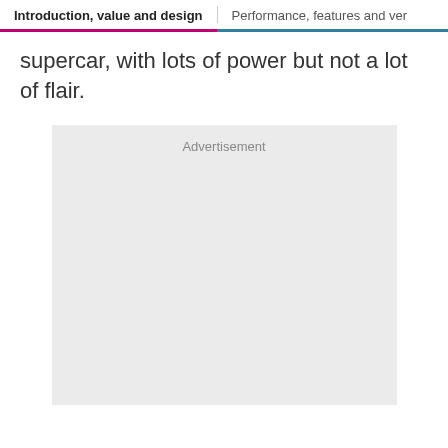Introduction, value and design | Performance, features and ver...
supercar, with lots of power but not a lot of flair.
[Figure (other): Advertisement placeholder box with light gray background and 'Advertisement' label at top center]